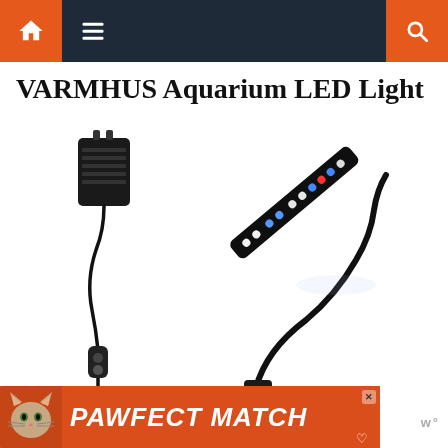Navigation bar with home, menu, and search icons
VARMHUS Aquarium LED Light
[Figure (photo): Product photo showing a VARMHUS Aquarium LED Light with a long flexible gooseneck arm, LED lamp head with blue, white, and red LEDs, and a power adapter with inline cord switch]
[Figure (infographic): PAWFECT MATCH advertisement banner with a cat photo on the left and bold italic white text on orange/red background]
w°